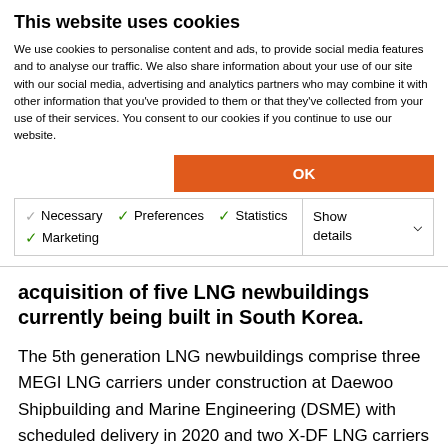This website uses cookies
We use cookies to personalise content and ads, to provide social media features and to analyse our traffic. We also share information about your use of our site with our social media, advertising and analytics partners who may combine it with other information that you've provided to them or that they've collected from your use of their services. You consent to our cookies if you continue to use our website.
OK
Necessary  Preferences  Statistics  Marketing  Show details
acquisition of five LNG newbuildings currently being built in South Korea.
The 5th generation LNG newbuildings comprise three MEGI LNG carriers under construction at Daewoo Shipbuilding and Marine Engineering (DSME) with scheduled delivery in 2020 and two X-DF LNG carriers currently under construction at Hyundai Samho Heavy